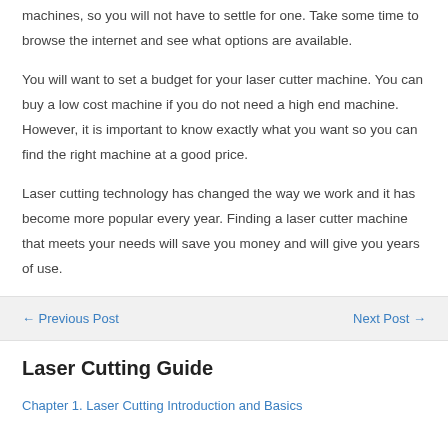machines, so you will not have to settle for one. Take some time to browse the internet and see what options are available.
You will want to set a budget for your laser cutter machine. You can buy a low cost machine if you do not need a high end machine. However, it is important to know exactly what you want so you can find the right machine at a good price.
Laser cutting technology has changed the way we work and it has become more popular every year. Finding a laser cutter machine that meets your needs will save you money and will give you years of use.
← Previous Post    Next Post →
Laser Cutting Guide
Chapter 1. Laser Cutting Introduction and Basics